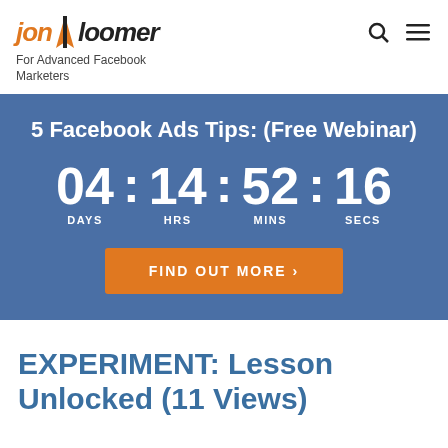jon loomer — For Advanced Facebook Marketers
[Figure (screenshot): Webinar promotional banner with countdown timer showing 04 days, 14 hrs, 52 mins, 16 secs and a Find Out More button]
EXPERIMENT: Lesson Unlocked (11 Views)